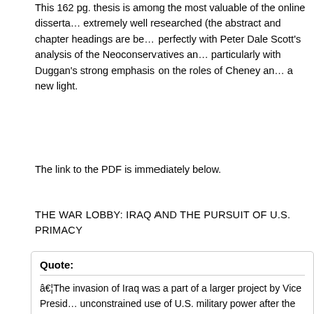This 162 pg. thesis is among the most valuable of the online disserta... extremely well researched (the abstract and chapter headings are be... perfectly with Peter Dale Scott's analysis of the Neoconservatives an... particularly with Duggan's strong emphasis on the roles of Cheney an... a new light.
The link to the PDF is immediately below.
THE WAR LOBBY: IRAQ AND THE PURSUIT OF U.S. PRIMACY
Quote:

…The invasion of Iraq was a part of a larger project by Vice Presid... unconstrained use of U.S. military power after the defeat of Vietnam... the invasion of Iraq was the result of an overreaction to 9/11, the th... East, a desire to protect Israel or a plan to profit from Iraqi oil. The s... the role of the neoconservatives in the decision to invade. These ac... successfully persuaded the American President, George W. Bush, a... Hussein by winning an internal policy battle over realists, such as S...

With their narrow focus on neoconservatives and realists, scholars... This latter group, centered on Secretary of Defense Rumsfeld and V... and presidential powers in order to pursue U.S. primacy. This goal...